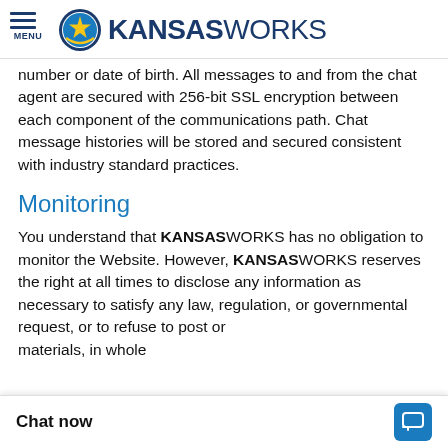MENU | KANSASWORKS
number or date of birth. All messages to and from the chat agent are secured with 256-bit SSL encryption between each component of the communications path. Chat message histories will be stored and secured consistent with industry standard practices.
Monitoring
You understand that KANSASWORKS has no obligation to monitor the Website. However, KANSASWORKS reserves the right at all times to disclose any information as necessary to satisfy any law, regulation, or governmental request, or to refuse to post or materials, in whole
Chat now